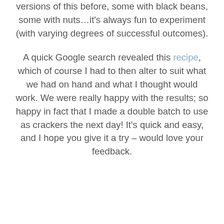versions of this before, some with black beans, some with nuts...it’s always fun to experiment (with varying degrees of successful outcomes).

A quick Google search revealed this recipe, which of course I had to then alter to suit what we had on hand and what I thought would work. We were really happy with the results; so happy in fact that I made a double batch to use as crackers the next day! It’s quick and easy, and I hope you give it a try – would love your feedback.